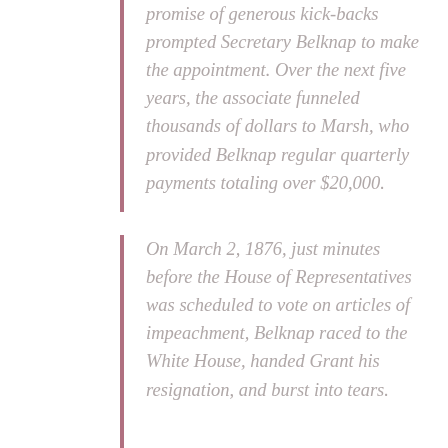promise of generous kick-backs prompted Secretary Belknap to make the appointment. Over the next five years, the associate funneled thousands of dollars to Marsh, who provided Belknap regular quarterly payments totaling over $20,000.
On March 2, 1876, just minutes before the House of Representatives was scheduled to vote on articles of impeachment, Belknap raced to the White House, handed Grant his resignation, and burst into tears.